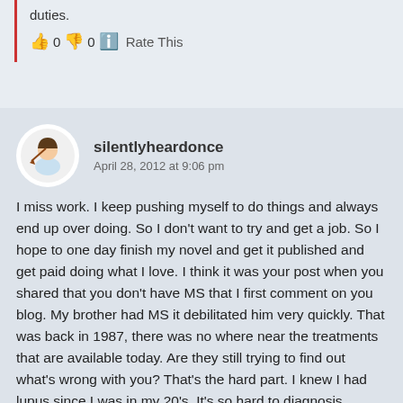duties.
👍 0 👎 0 ℹ Rate This
silentlyheardonce
April 28, 2012 at 9:06 pm
I miss work. I keep pushing myself to do things and always end up over doing. So I don't want to try and get a job. So I hope to one day finish my novel and get it published and get paid doing what I love. I think it was your post when you shared that you don't have MS that I first comment on you blog. My brother had MS it debilitated him very quickly. That was back in 1987, there was no where near the treatments that are available today. Are they still trying to find out what's wrong with you? That's the hard part. I knew I had lupus since I was in my 20's. It's so hard to diagnosis because there isn't a test that comes back positive. You have to meet the criteria. By the time I meet the criteria my lung and heart are affected. The doctors keep telling me I'm very sick. Eventually I started to believe them.